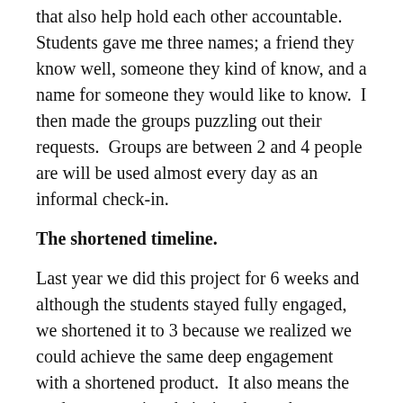that also help hold each other accountable.  Students gave me three names; a friend they know well, someone they kind of know, and a name for someone they would like to know.  I then made the groups puzzling out their requests.  Groups are between 2 and 4 people are will be used almost every day as an informal check-in.
The shortened timeline.
Last year we did this project for 6 weeks and although the students stayed fully engaged, we shortened it to 3 because we realized we could achieve the same deep engagement with a shortened product.  It also means the students are using their time better because they know every minute counts.